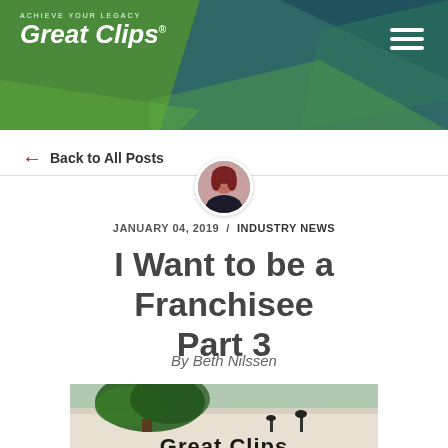ACHIEVE YOUR LEGACY — Great Clips
← Back to All Posts
[Figure (photo): Author avatar photo: woman with red hair and glasses]
JANUARY 04, 2019 / INDUSTRY NEWS
I Want to be a Franchisee Part 3
By Beth Nilssen
[Figure (photo): Exterior of a Great Clips salon with sign visible, tree in foreground]